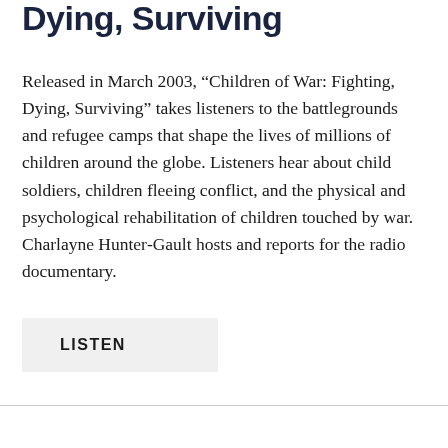Dying, Surviving
Released in March 2003, “Children of War: Fighting, Dying, Surviving” takes listeners to the battlegrounds and refugee camps that shape the lives of millions of children around the globe. Listeners hear about child soldiers, children fleeing conflict, and the physical and psychological rehabilitation of children touched by war. Charlayne Hunter-Gault hosts and reports for the radio documentary.
LISTEN